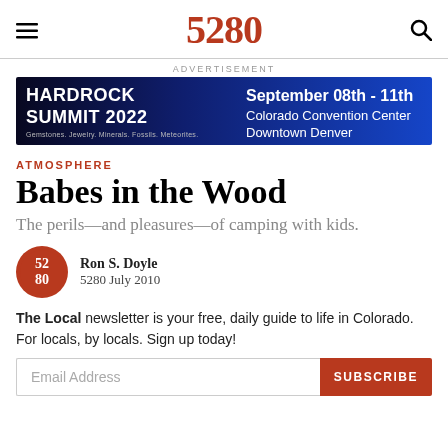5280
[Figure (other): Hardrock Summit 2022 advertisement banner. September 08th - 11th, Colorado Convention Center, Downtown Denver. Dark blue background.]
ATMOSPHERE
Babes in the Wood
The perils—and pleasures—of camping with kids.
Ron S. Doyle
5280 July 2010
The Local newsletter is your free, daily guide to life in Colorado. For locals, by locals. Sign up today!